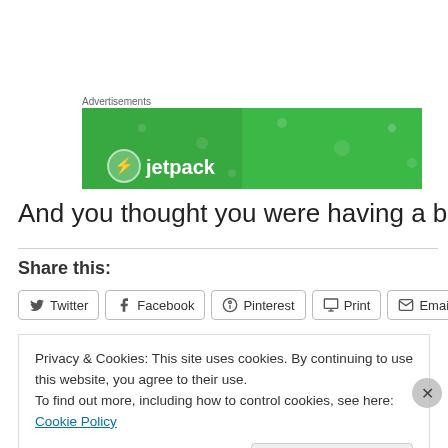[Figure (screenshot): Green Jetpack advertisement banner with white dots/bokeh effect and Jetpack logo and text]
Advertisements
And you thought you were having a bad day!
Share this:
Twitter | Facebook | Pinterest | Print | Email
Privacy & Cookies: This site uses cookies. By continuing to use this website, you agree to their use. To find out more, including how to control cookies, see here: Cookie Policy
Close and accept